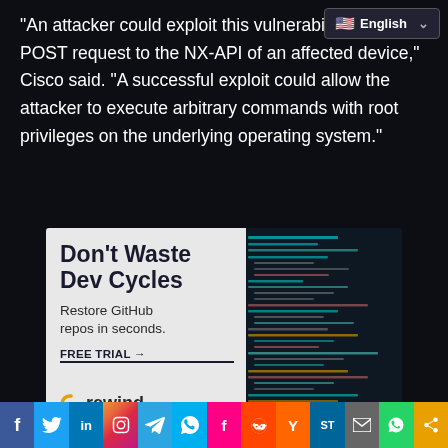“An attacker could exploit this vulnerability by sending a crafted HTTP POST request to the NX-API of an affected device,” Cisco said. “A successful exploit could allow the attacker to execute arbitrary commands with root privileges on the underlying operating system.”
[Figure (infographic): Advertisement for Rewind: 'Don’t Waste Dev Cycles. Restore GitHub repos in seconds. FREE TRIAL →' with rewind logo and code background]
[Figure (infographic): Social sharing bar with icons: Facebook, Twitter, LinkedIn, Instagram, Telegram, Skype, Flipboard, Reddit, Hacker News, SmarterTravel, Email, WhatsApp, Share]